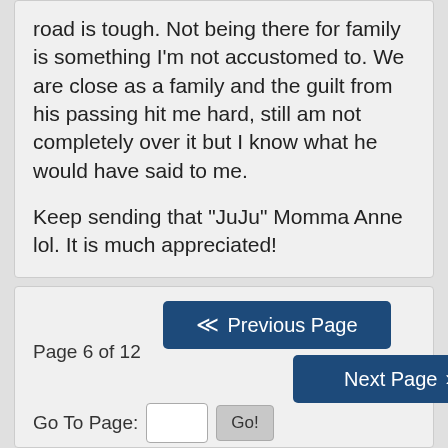road is tough. Not being there for family is something I'm not accustomed to. We are close as a family and the guilt from his passing hit me hard, still am not completely over it but I know what he would have said to me.

Keep sending that "JuJu" Momma Anne lol. It is much appreciated!
Page 6 of 12